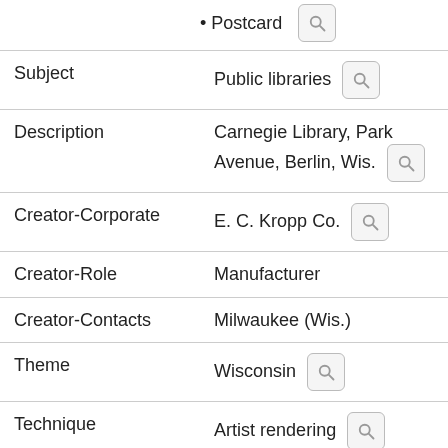Postcard
| Field | Value |
| --- | --- |
| Subject | Public libraries |
| Description | Carnegie Library, Park Avenue, Berlin, Wis. |
| Creator-Corporate | E. C. Kropp Co. |
| Creator-Role | Manufacturer |
| Creator-Contacts | Milwaukee (Wis.) |
| Theme | Wisconsin |
| Technique | Artist rendering |
| Inclusive Dates | 1890- |
| Language | eng |
| WorkDimensions-Measurement | 13.8 x 8.8 cm |